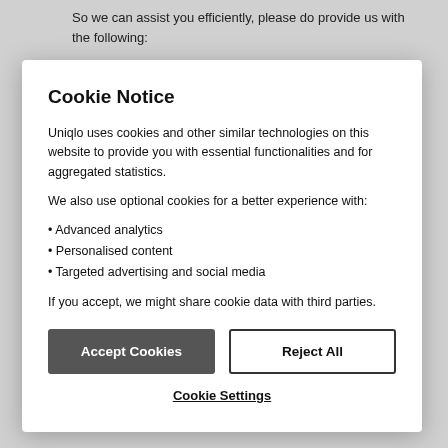So we can assist you efficiently, please do provide us with the following:
Cookie Notice
Uniqlo uses cookies and other similar technologies on this website to provide you with essential functionalities and for aggregated statistics.
We also use optional cookies for a better experience with:
• Advanced analytics
• Personalised content
• Targeted advertising and social media
If you accept, we might share cookie data with third parties.
Accept Cookies
Reject All
Cookie Settings